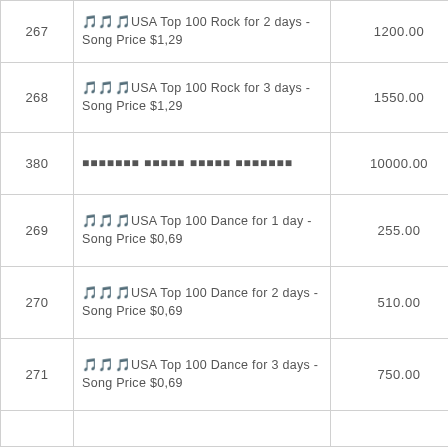| ID | Description | Price |
| --- | --- | --- |
| 267 | 🎵🎵🎵USA Top 100 Rock for 2 days - Song Price $1,29 | 1200.00 |
| 268 | 🎵🎵🎵USA Top 100 Rock for 3 days - Song Price $1,29 | 1550.00 |
| 380 | 🎵🎵🎵🎵🎵🎵🎵 🎵🎵🎵🎵🎵 🎵🎵🎵🎵🎵 🎵🎵🎵🎵🎵🎵🎵 | 10000.00 |
| 269 | 🎵🎵🎵USA Top 100 Dance for 1 day - Song Price $0,69 | 255.00 |
| 270 | 🎵🎵🎵USA Top 100 Dance for 2 days - Song Price $0,69 | 510.00 |
| 271 | 🎵🎵🎵USA Top 100 Dance for 3 days - Song Price $0,69 | 750.00 |